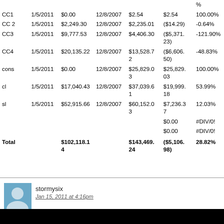|  | Date1 | Amount1 | Date2 | Amount2 | Gain/Loss | % |
| --- | --- | --- | --- | --- | --- | --- |
| CC1 | 1/5/2011 | $0.00 | 12/8/2007 | $2.54 | $2.54 | 100.00% |
| CC 2 | 1/5/2011 | $2,249.30 | 12/8/2007 | $2,235.01 | ($14.29) | -0.64% |
| CC3 | 1/5/2011 | $9,777.53 | 12/8/2007 | $4,406.30 | ($5,371.23) | -121.90% |
| CC4 | 1/5/2011 | $20,135.22 | 12/8/2007 | $13,528.72 | ($6,606.50) | -48.83% |
| cons | 1/5/2011 | $0.00 | 12/8/2007 | $25,829.03 | $25,829.03 | 100.00% |
| cl | 1/5/2011 | $17,040.43 | 12/8/2007 | $37,039.61 | $19,999.18 | 53.99% |
| sl | 1/5/2011 | $52,915.66 | 12/8/2007 | $60,152.03 | $7,236.37 | 12.03% |
|  |  |  |  |  | $0.00 | #DIV/0! |
|  |  |  |  |  | $0.00 | #DIV/0! |
| Total |  | $102,118.14 |  | $143,469.24 | ($5,106.98) | 28.82% |
stormysix
Jan 15, 2011 at 4:16pm